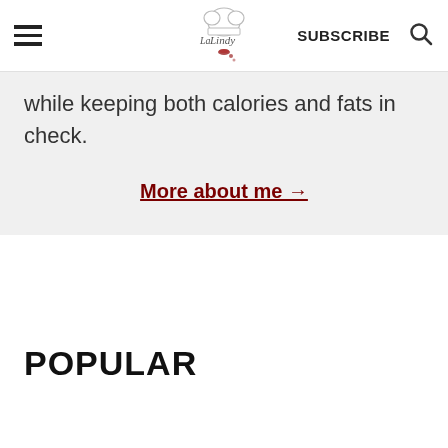La Lindy — SUBSCRIBE [search icon]
while keeping both calories and fats in check.
More about me →
POPULAR